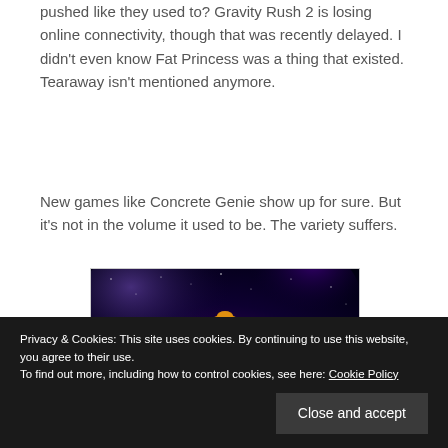pushed like they used to? Gravity Rush 2 is losing online connectivity, though that was recently delayed. I didn't even know Fat Princess was a thing that existed. Tearaway isn't mentioned anymore.
New games like Concrete Genie show up for sure. But it's not in the volume it used to be. The variety suffers.
[Figure (photo): A space scene featuring Samus Aran from Metroid in orange and red armor holding her arm cannon, standing in front of a glowing planet with a colorful nebula in the background.]
Privacy & Cookies: This site uses cookies. By continuing to use this website, you agree to their use.
To find out more, including how to control cookies, see here: Cookie Policy